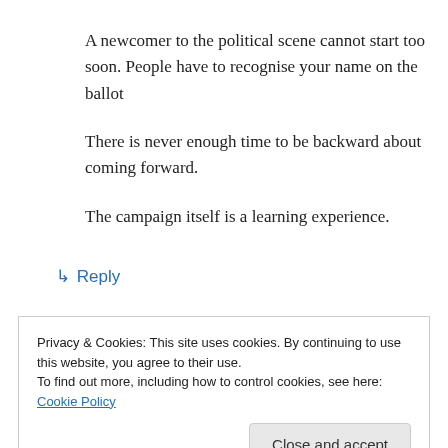A newcomer to the political scene cannot start too soon. People have to recognise your name on the ballot
There is never enough time to be backward about coming forward.
The campaign itself is a learning experience.
↳ Reply
Privacy & Cookies: This site uses cookies. By continuing to use this website, you agree to their use.
To find out more, including how to control cookies, see here: Cookie Policy
Close and accept
Bill is totally right!